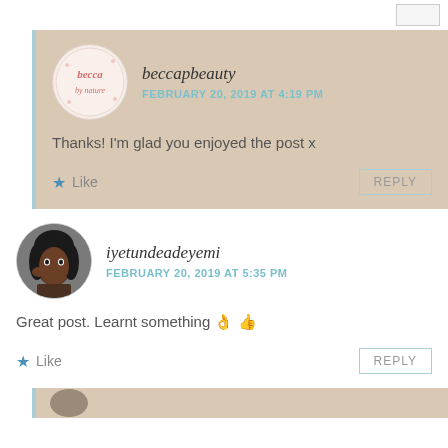beccapbeauty
FEBRUARY 20, 2019 AT 4:19 PM
Thanks! I'm glad you enjoyed the post x
Like
REPLY
iyetundeadeyemi
FEBRUARY 20, 2019 AT 5:35 PM
Great post. Learnt something 👌👍
Like
REPLY